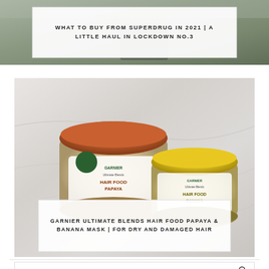[Figure (photo): Top card with white overlay box containing title text about Superdrug haul, set against a muted greenish-grey background photo]
WHAT TO BUY FROM SUPERDRUG IN 2021 | A LITTLE HAUL IN LOCKDOWN NO.3
[Figure (photo): Photo of two Garnier Ultimate Blends Hair Food jars (papaya with orange lid and banana with yellow lid) on a white fabric background, with white overlay box containing product title text]
GARNIER ULTIMATE BLENDS HAIR FOOD PAPAYA & BANANA MASK | FOR DRY AND DAMAGED HAIR
LOOKING FOR SOMETHING?